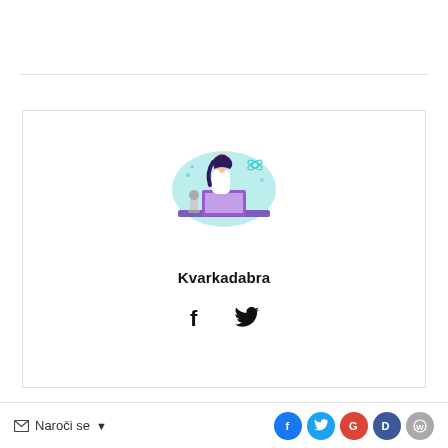[Figure (illustration): Illustration of a female scientist/researcher sitting at a desk with a laptop and microscope, teal/blue and purple color scheme]
Kvarkadabra
[Figure (infographic): Facebook and Twitter social media icons (f and bird symbol) in black]
Naroči se ▼  [social share buttons: Facebook, Twitter, Google, Disqus, WordPress]